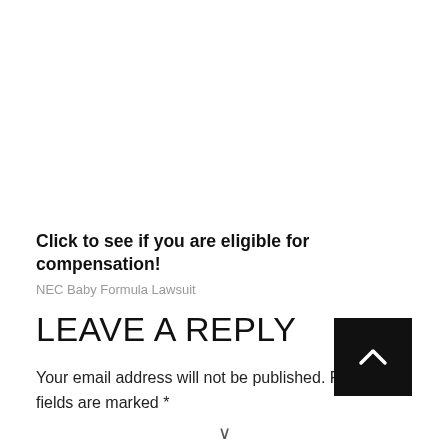Click to see if you are eligible for compensation!
NEC Baby Formula Lawsuit
LEAVE A REPLY
Your email address will not be published. Required fields are marked *